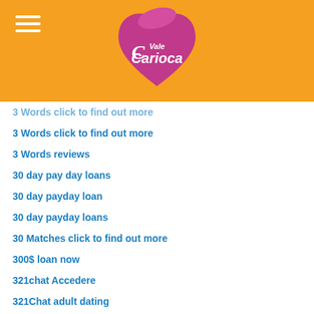[Figure (logo): Vale Carioca logo — a pink/magenta heart shape with white cursive text reading 'Vale Carioca', on an orange background header]
3 Words click to find out more
3 Words reviews
30 day pay day loans
30 day payday loan
30 day payday loans
30 Matches click to find out more
300$ loan now
321chat Accedere
321Chat adult dating
321chat avis
321chat connexion
321chat dating
321Chat dating site